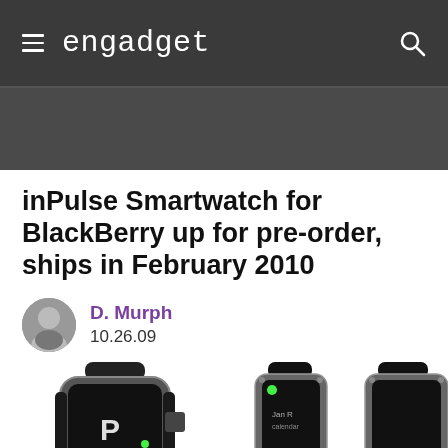engadget
inPulse Smartwatch for BlackBerry up for pre-order, ships in February 2010
D. Murph
10.26.09
[Figure (photo): Three inPulse smartwatches shown from different angles: a wristwatch view on the left, and two frontal views showing the watch face with green LED indicators on the right.]